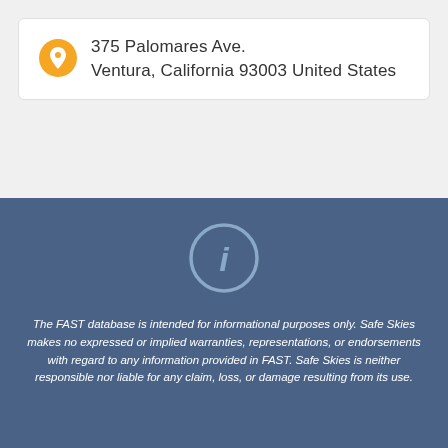375 Palomares Ave.
Ventura, California 93003 United States
[Figure (illustration): Info icon — white circle outline with lowercase 'i' on blue background]
The FAST database is intended for informational purposes only. Safe Skies makes no expressed or implied warranties, representations, or endorsements with regard to any information provided in FAST. Safe Skies is neither responsible nor liable for any claim, loss, or damage resulting from its use.